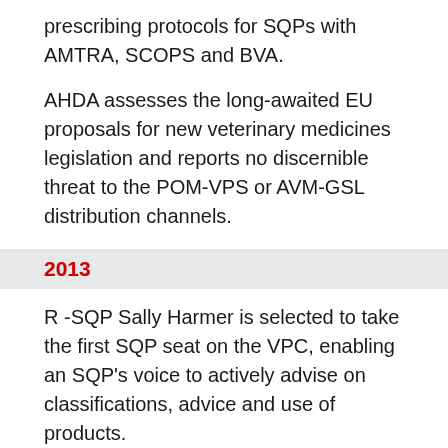prescribing protocols for SQPs with AMTRA, SCOPS and BVA.
AHDA assesses the long-awaited EU proposals for new veterinary medicines legislation and reports no discernible threat to the POM-VPS or AVM-GSL distribution channels.
2013
R -SQP Sally Harmer is selected to take the first SQP seat on the VPC, enabling an SQP's voice to actively advise on classifications, advice and use of products.
Alongside XL Vets, AHDA creates an online petition calling for verbal intervention when prescribing all VPS medicines.